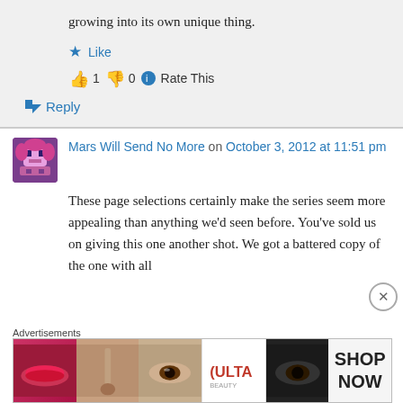growing into its own unique thing.
Like
1  0  Rate This
Reply
Mars Will Send No More on October 3, 2012 at 11:51 pm
These page selections certainly make the series seem more appealing than anything we'd seen before. You've sold us on giving this one another shot. We got a battered copy of the one with all
Advertisements